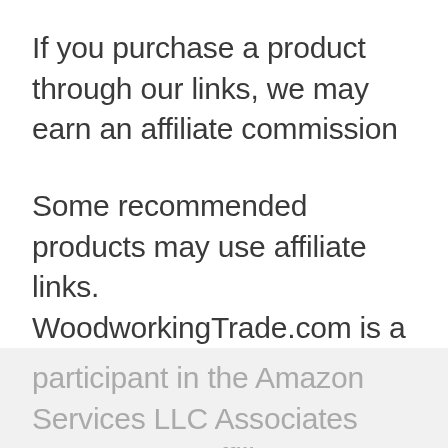If you purchase a product through our links, we may earn an affiliate commission
Some recommended products may use affiliate links. WoodworkingTrade.com is a participant in the Amazon Services LLC Associates Program, an affiliate